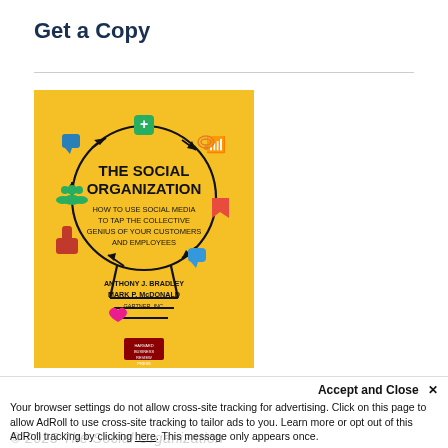Get a Copy
[Figure (illustration): Book cover of 'The Social Organization: How to Use Social Media to Tap the Collective Genius of Your Customers and Employees' by Anthony J. Bradley and Mark P. McDonald, Gartner Inc. Yellow cover with a light bulb shaped diagram of social media icons connected by arrows. Published by Harvard Business Review Press.]
Accept and Close ×
Your browser settings do not allow cross-site tracking for advertising. Click on this page to allow AdRoll to use cross-site tracking to tailor ads to you. Learn more or opt out of this AdRoll tracking by clicking here. This message only appears once.
© 2025 The Social Organization